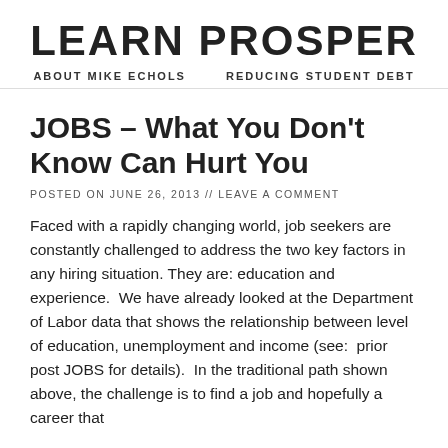LEARN PROSPER
ABOUT MIKE ECHOLS    REDUCING STUDENT DEBT
JOBS – What You Don't Know Can Hurt You
POSTED ON JUNE 26, 2013 // LEAVE A COMMENT
Faced with a rapidly changing world, job seekers are constantly challenged to address the two key factors in any hiring situation. They are: education and experience.  We have already looked at the Department of Labor data that shows the relationship between level of education, unemployment and income (see:  prior post JOBS for details).  In the traditional path shown above, the challenge is to find a job and hopefully a career that